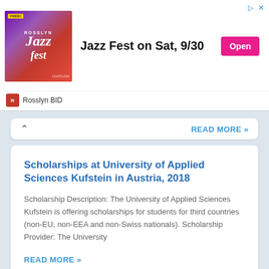[Figure (illustration): Advertisement banner for Rosslyn Jazz Fest on Sat 9/30 with Open button, showing a jazz musician image and Rosslyn BID branding]
READ MORE »
Scholarships at University of Applied Sciences Kufstein in Austria, 2018
Scholarship Description: The University of Applied Sciences Kufstein is offering scholarships for students for third countries (non-EU, non-EEA and non-Swiss nationals). Scholarship Provider: The University
READ MORE »
IHS PhD Position on EU Post-Crisis Legitimacy in Austria, 2018